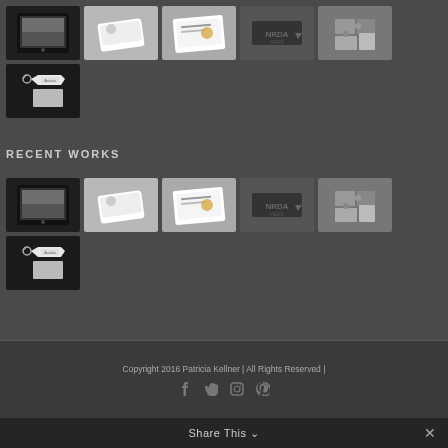[Figure (screenshot): Grid of 6 thumbnail images: tablet mockup, card mockup, certificate mockup, dark logo, puzzle pieces, tag/keychain mockup]
RECENT WORKS
[Figure (screenshot): Grid of 6 thumbnail images repeated: tablet mockup, card mockup, certificate mockup, dark logo, puzzle pieces, tag/keychain mockup]
Copyright 2016 Patricia Kellner | All Rights Reserved |
Share This ∨